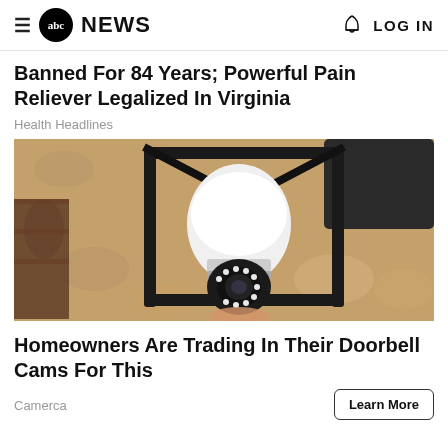abc NEWS   LOG IN
Banned For 84 Years; Powerful Pain Reliever Legalized In Virginia
Health Headlines
[Figure (photo): A smart security camera bulb installed inside an outdoor wall-mounted black lantern light fixture on a textured stucco wall]
Homeowners Are Trading In Their Doorbell Cams For This
Camerca
Learn More